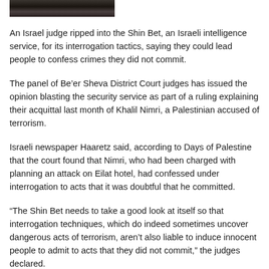[Figure (photo): Partial photograph of people, cropped at top of page]
An Israel judge ripped into the Shin Bet, an Israeli intelligence service, for its interrogation tactics, saying they could lead people to confess crimes they did not commit.
The panel of Be’er Sheva District Court judges has issued the opinion blasting the security service as part of a ruling explaining their acquittal last month of Khalil Nimri, a Palestinian accused of terrorism.
Israeli newspaper Haaretz said, according to Days of Palestine that the court found that Nimri, who had been charged with planning an attack on Eilat hotel, had confessed under interrogation to acts that it was doubtful that he committed.
“The Shin Bet needs to take a good look at itself so that interrogation techniques, which do indeed sometimes uncover dangerous acts of terrorism, aren’t also liable to induce innocent people to admit to acts that they did not commit,” the judges declared.